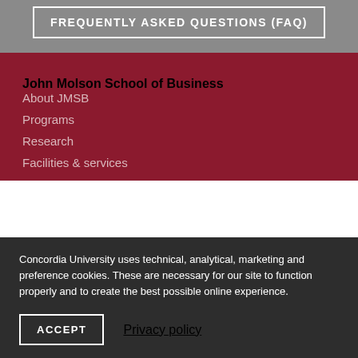FREQUENTLY ASKED QUESTIONS (FAQ)
John Molson School of Business
About JMSB
Programs
Research
Facilities & services
Concordia University uses technical, analytical, marketing and preference cookies. These are necessary for our site to function properly and to create the best possible online experience.
ACCEPT
Privacy policy